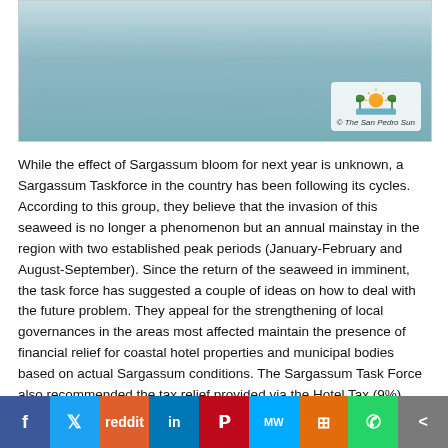[Figure (photo): Ocean/sea water surface with teal-blue waves, The San Pedro Sun logo overlay in bottom right corner of image]
While the effect of Sargassum bloom for next year is unknown, a Sargassum Taskforce in the country has been following its cycles. According to this group, they believe that the invasion of this seaweed is no longer a phenomenon but an annual mainstay in the region with two established peak periods (January-February and August-September). Since the return of the seaweed in imminent, the task force has suggested a couple of ideas on how to deal with the future problem. They appeal for the strengthening of local governances in the areas most affected maintain the presence of financial relief for coastal hotel properties and municipal bodies based on actual Sargassum conditions. The Sargassum Task Force also recommended the tax relief provided via the Hotel Tax (9%) from the Ministry of Tourism to be extended to 2020 at a rate of 0%, 1% and 2% depending on the level of the Sargassum level. This tax relief was introduced in October 2018 with an amount of $1.5 million to help contain the seaweed infestation. These funds were designated to the coastal communities of San Pedro Town, Caye Caulker Village, Placencia Village, and Hopkins Village. The financial assistance